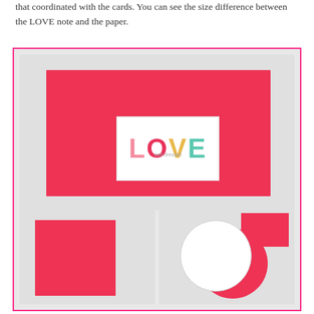that coordinated with the cards. You can see the size difference between the LOVE note and the paper.
[Figure (photo): A collage of three photos with a pink border. The top photo shows a large red sheet of paper on a gray background with a small white LOVE note card placed in the center. The LOVE letters are colored: L in pink, O in red/pink, V in yellow, E in teal. Bottom-left photo shows a red square sheet of paper. Bottom-right photo shows red circular and rectangular paper pieces with a white circle.]